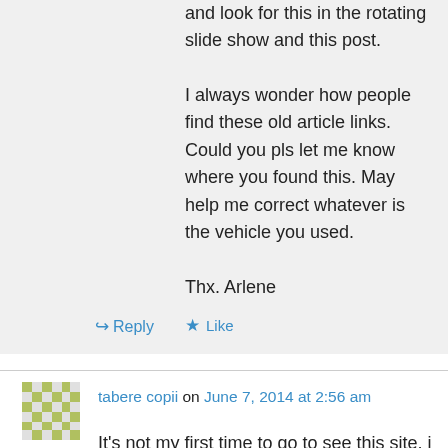and look for this in the rotating slide show and this post. I always wonder how people find these old article links. Could you pls let me know where you found this. May help me correct whatever is the vehicle you used. Thx. Arlene
★ Like
↳ Reply
tabere copii on June 7, 2014 at 2:56 am
It's not my first time to go to see this site, i am browsing this website dailly and obtain pleasant facts from here every